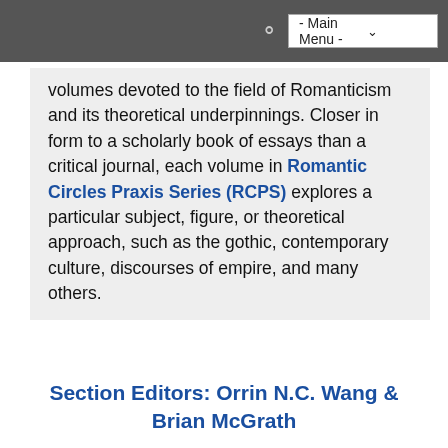- Main Menu -
volumes devoted to the field of Romanticism and its theoretical underpinnings. Closer in form to a scholarly book of essays than a critical journal, each volume in Romantic Circles Praxis Series (RCPS) explores a particular subject, figure, or theoretical approach, such as the gothic, contemporary culture, discourses of empire, and many others.
Section Editors: Orrin N.C. Wang & Brian McGrath